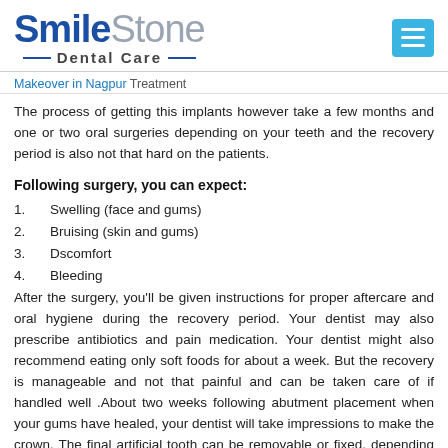SmileStone Dental Care
Makeover in Nagpur Treatment
The process of getting this implants however take a few months and one or two oral surgeries depending on your teeth and the recovery period is also not that hard on the patients.
Following surgery, you can expect:
1. Swelling (face and gums)
2. Bruising (skin and gums)
3. Dscomfort
4. Bleeding
After the surgery, you'll be given instructions for proper aftercare and oral hygiene during the recovery period. Your dentist may also prescribe antibiotics and pain medication. Your dentist might also recommend eating only soft foods for about a week. But the recovery is manageable and not that painful and can be taken care of if handled well .About two weeks following abutment placement when your gums have healed, your dentist will take impressions to make the crown. The final artificial tooth can be removable or fixed, depending on preference. Smilestone- The Best Dental Clinic in